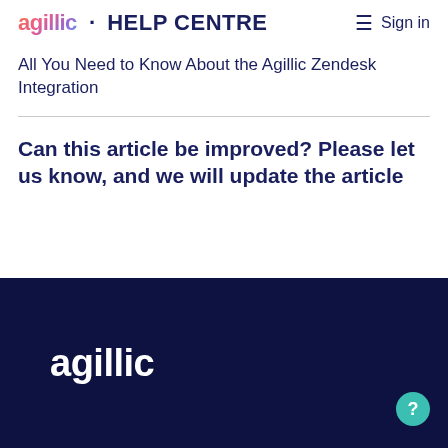agillic · HELP CENTRE   Sign in
All You Need to Know About the Agillic Zendesk Integration
Can this article be improved? Please let us know, and we will update the article
[Figure (logo): Agillic logo in white text on dark navy background footer]
agillic